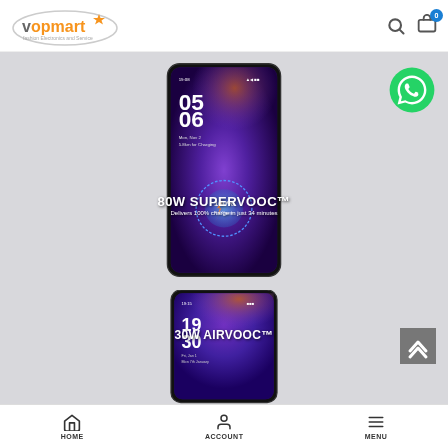[Figure (logo): Vopmart logo - orange/gray star with text 'vopmart' and subtitle 'fashion Electronics and Service']
[Figure (screenshot): E-commerce website screenshot showing two smartphones displaying charging features. Top phone shows '80W SUPERVOOC - Delivers 100% charge in just 34 minutes'. Bottom phone shows '30W AIRVOOC' wireless charging. WhatsApp contact button visible top right. Scroll-up button bottom right.]
HOME   ACCOUNT   MENU